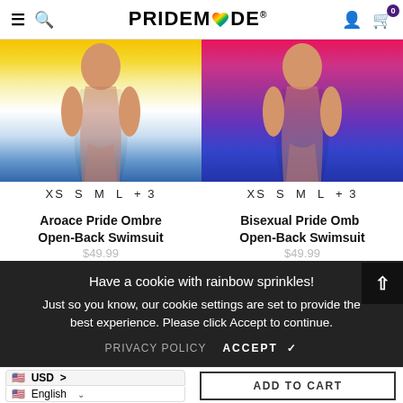PRIDEMODE
[Figure (photo): Aroace Pride Ombre swimsuit on model - yellow/white/blue gradient one-piece with open back]
XS S M L + 3
Aroace Pride Ombre Open-Back Swimsuit
[Figure (photo): Bisexual Pride Ombre swimsuit on model - pink/purple/blue gradient one-piece with open back]
XS S M L + 3
Bisexual Pride Ombre Open-Back Swimsuit
Have a cookie with rainbow sprinkles!
Just so you know, our cookie settings are set to provide the best experience. Please click Accept to continue.
PRIVACY POLICY   ACCEPT ✔
🇺🇸 USD >
🇺🇸 English
ADD TO CART